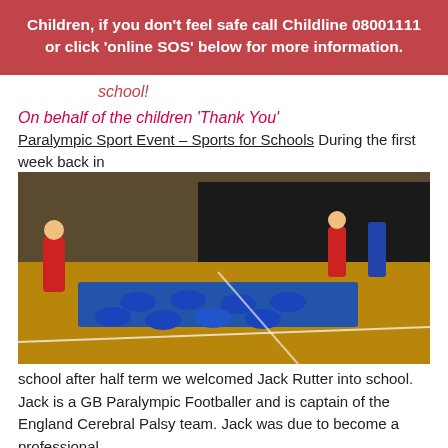Children, if you don't feel safe call Childline 08001111 or click 'online SOS' below for more information.
school!
On behalf of the children 'Thank You'
Paralympic Sport Event – Sports for Schools During the first week back in
[Figure (photo): Children in blue sportswear doing floor exercises on blue mats in a school hall, with instructors in red and black standing around them.]
school after half term we welcomed Jack Rutter into school.  Jack is a GB Paralympic Footballer and is captain of the England Cerebral Palsy team.  Jack was due to become a professional